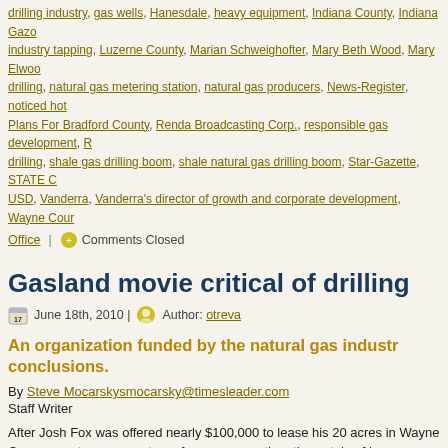drilling industry, gas wells, Hanesdale, heavy equipment, Indiana County, Indiana Gazette, industry tapping, Luzerne County, Marian Schweighofter, Mary Beth Wood, Mary Elwood, drilling, natural gas metering station, natural gas producers, News-Register, noticed hot, Plans For Bradford County, Renda Broadcasting Corp., responsible gas development, R, drilling, shale gas drilling boom, shale natural gas drilling boom, Star-Gazette, STATE C, USD, Vanderra, Vanderra's director of growth and corporate development, Wayne County Office
Comments Closed
Gasland movie critical of drilling
June 18th, 2010 | Author: otreva
An organization funded by the natural gas industry challenges the film's conclusions.
By Steve Mocarskysmocarsky@timesleader.com
Staff Writer
After Josh Fox was offered nearly $100,000 to lease his 20 acres in Wayne County, he heard two accounts – one, a story of easy money, the other a tale of horror.
The 37-year-old independent filmmaker set out to find the truth about natural gas drilling for his documentary film "Gasland," to air on HBO at 9 p.m. on Monday.
And while representatives of the gas industry call the film a piece of propaganda, Fox stands by his work and says it's the industry's response that is propaganda.
In a phone interview Thursday afternoon, as he was getting ready for a special screening in New York City that night, Fox said a land man with a gas company told him in 2008 he should lease the land. But he heard from others that environmentally, gas drilling was "very po..."